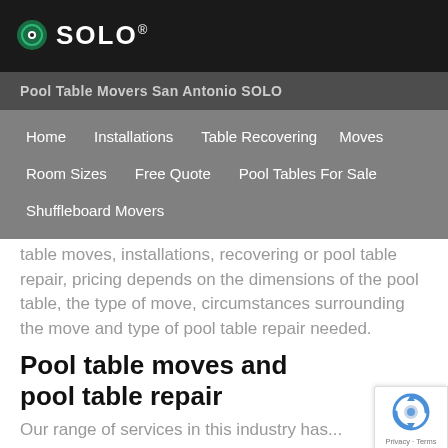SOLO®
Pool Table Movers San Antonio SOLO
Home
Installations
Table Recovering
Moves
Room Sizes
Free Quote
Pool Tables For Sale
Shuffleboard Movers
table moves, installations, recovering or pool table repair, pricing depends on the dimensions of the pool table, the type of move, circumstances surrounding the move and type of pool table repair needed.
Pool table moves and pool table repair
Our range of services in this industry has...